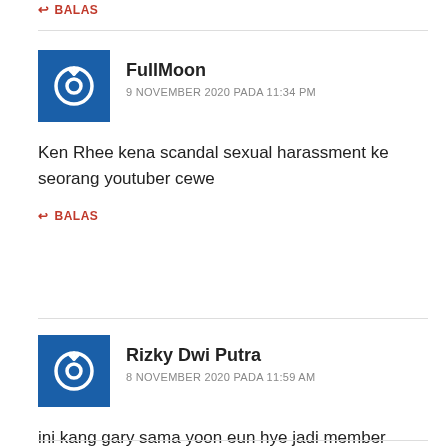↩ BALAS
FullMoon
9 NOVEMBER 2020 PADA 11:34 PM
Ken Rhee kena scandal sexual harassment ke seorang youtuber cewe
↩ BALAS
Rizky Dwi Putra
8 NOVEMBER 2020 PADA 11:59 AM
ini kang gary sama yoon eun hye jadi member tetap law of the jungle atau cuma jadi guest ajah ?
↩ BALAS